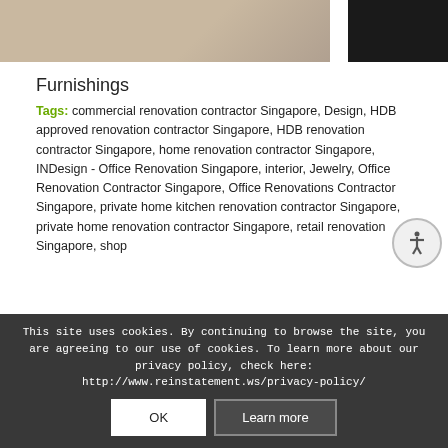[Figure (photo): Two photos side by side: left is a light beige/cream colored interior surface photo, right is a dark/black photo]
Furnishings
Tags: commercial renovation contractor Singapore, Design, HDB approved renovation contractor Singapore, HDB renovation contractor Singapore, home renovation contractor Singapore, INDesign - Office Renovation Singapore, interior, Jewelry, Office Renovation Contractor Singapore, Office Renovations Contractor Singapore, private home kitchen renovation contractor Singapore, private home renovation contractor Singapore, retail renovation Singapore, shop
This site uses cookies. By continuing to browse the site, you are agreeing to our use of cookies. To learn more about our privacy policy, check here: http://www.reinstatement.ws/privacy-policy/